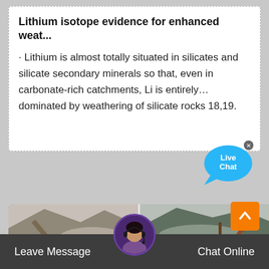Lithium isotope evidence for enhanced weat...
· Lithium is almost totally situated in silicates and silicate secondary minerals so that, even in carbonate-rich catchments, Li is entirely… dominated by weathering of silicate rocks 18,19.
[Figure (screenshot): Live Chat bubble overlay in blue]
[Figure (photo): Two side-by-side photos of mining/quarrying equipment and operations in mountainous terrain]
[Figure (other): Orange scroll-to-top button with chevron up icon]
[Figure (photo): Customer service agent avatar circle with headset]
Leave Message
Chat Online